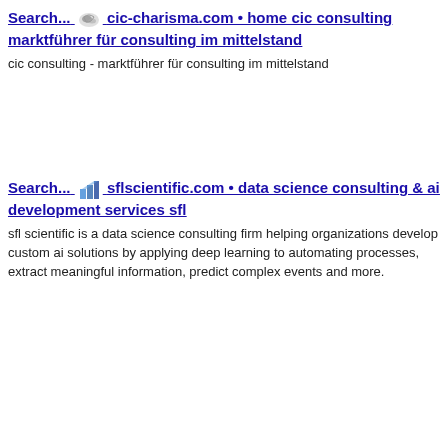Search... cic-charisma.com • home cic consulting marktführer für consulting im mittelstand
cic consulting - marktführer für consulting im mittelstand
Search... sflscientific.com • data science consulting & ai development services sfl
sfl scientific is a data science consulting firm helping organizations develop custom ai solutions by applying deep learning to automating processes, extract meaningful information, predict complex events and more.